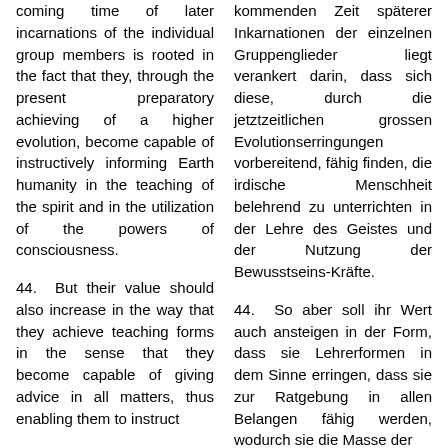coming time of later incarnations of the individual group members is rooted in the fact that they, through the present preparatory achieving of a higher evolution, become capable of instructively informing Earth humanity in the teaching of the spirit and in the utilization of the powers of consciousness.
kommenden Zeit späterer Inkarnationen der einzelnen Gruppenglieder liegt verankert darin, dass sich diese, durch die jetztzeitlichen grossen Evolutionserringungen vorbereitend, fähig finden, die irdische Menschheit belehrend zu unterrichten in der Lehre des Geistes und der Nutzung der Bewusstseins-Kräfte.
44. But their value should also increase in the way that they achieve teaching forms in the sense that they become capable of giving advice in all matters, thus enabling them to instruct
44. So aber soll ihr Wert auch ansteigen in der Form, dass sie Lehrerformen in dem Sinne erringen, dass sie zur Ratgebung in allen Belangen fähig werden, wodurch sie die Masse der